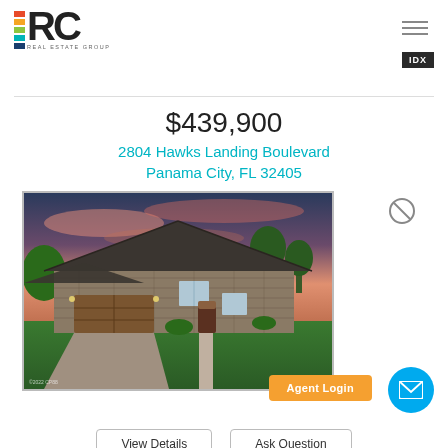[Figure (logo): RC Real Estate Group logo with colored squares and RC letters]
$439,900
2804 Hawks Landing Boulevard
Panama City, FL 32405
[Figure (photo): Exterior photo of a stone single-story house with brown garage door, green lawn, and sunset sky]
Agent Login
View Details
Ask Question